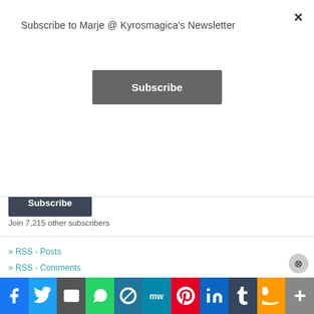Subscribe to Marje @ Kyrosmagica's Newsletter
Subscribe
and receive notifications of new posts by email.
Email Address
Subscribe
Join 7,215 other subscribers
» RSS - Posts
» RSS - Comments
Advertisements
[Figure (screenshot): Advertisement banner showing 'Turn your blog into a' text on dark background with logo]
[Figure (infographic): Social sharing bar with Facebook, Twitter, Email, WhatsApp, WordPress, MeWe, Pinterest, LinkedIn, Tumblr, Amazon, and more buttons]